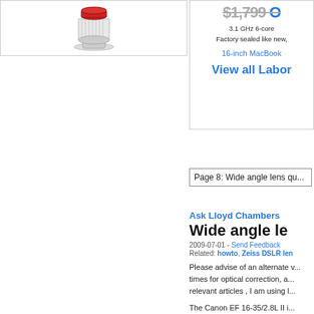[Figure (photo): Product photo of a red and silver device (likely a lens filter or camera accessory) on white background]
$1,799 O...
3.1 GHz 6-core
Factory sealed like new,
16-inch MacBook
View all Labor
Page 8: Wide angle lens qu...
Ask Lloyd Chambers
Wide angle le...
2009-07-01 - Send Feedback
Related: howto, Zeiss DSLR len...
Please advise of an alternate v... times for optical correction, a... relevant articles , I am using l...
The Canon EF 16-35/2.8L II i... including color fringing, and i...